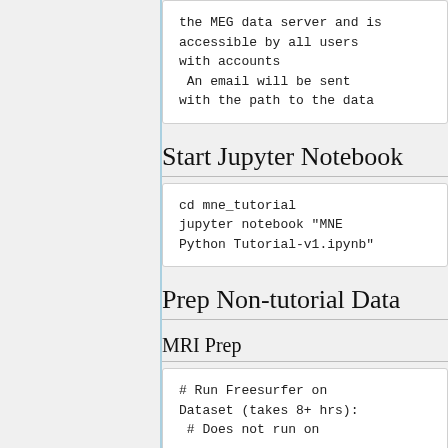the MEG data server and is accessible by all users with accounts
 An email will be sent with the path to the data
Start Jupyter Notebook
cd mne_tutorial
jupyter notebook "MNE Python Tutorial-v1.ipynb"
Prep Non-tutorial Data
MRI Prep
# Run Freesurfer on Dataset (takes 8+ hrs):
 # Does not run on